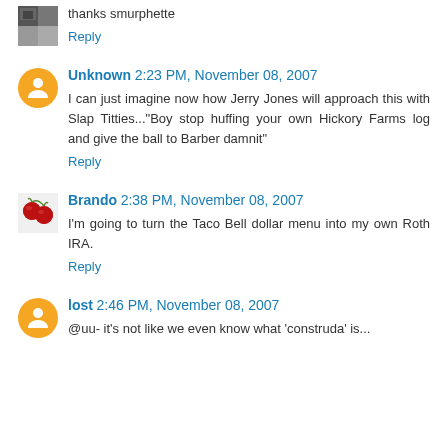thanks smurphette
Reply
Unknown 2:23 PM, November 08, 2007
I can just imagine now how Jerry Jones will approach this with Slap Titties..."Boy stop huffing your own Hickory Farms log and give the ball to Barber damnit"
Reply
Brando 2:38 PM, November 08, 2007
I'm going to turn the Taco Bell dollar menu into my own Roth IRA.
Reply
lost 2:46 PM, November 08, 2007
@uu- it's not like we even know what 'construda' is...